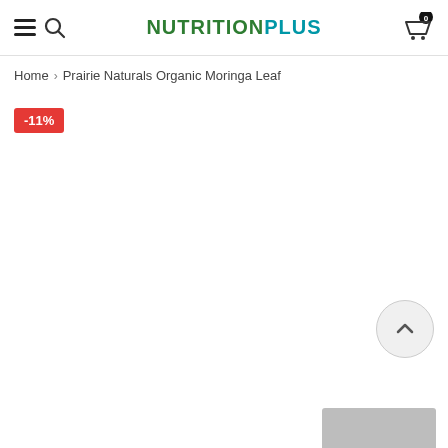NUTRITIONPLUS — Navigation header with hamburger menu, search icon, logo, and cart
Home > Prairie Naturals Organic Moringa Leaf
-11%
[Figure (other): Back to top chevron button, circular with upward arrow]
[Figure (other): Partial product image visible at bottom right]